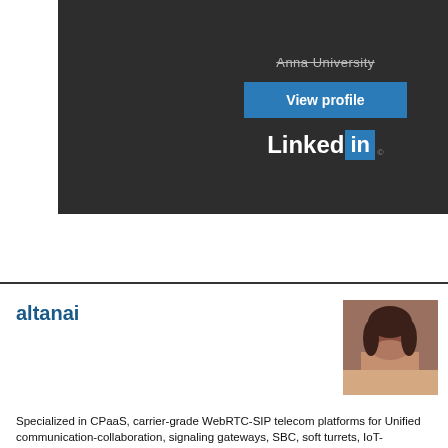[Figure (screenshot): LinkedIn profile card with dark background showing 'Anna University' text (strikethrough), a blue 'View profile' button, and the LinkedIn logo]
altanai
[Figure (photo): Profile photo of a person (altanai) - a selfie-style portrait]
Specialized in CPaaS, carrier-grade WebRTC-SIP telecom platforms for Unified communication-collaboration, signaling gateways, SBC, soft turrets, IoT-surveillance and telecom integrations. Ardent contributor to Open Source software, avid freelancer, innovator and technical writer (telecom.altanai.com). Inventor of "RamuDroid" an IOT Road-Cleaning robot Author of book "WebRTC Integrator's Guide" published by Packt
Personal Links
Telecom Research and Development